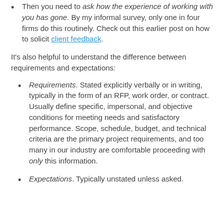Then you need to ask how the experience of working with you has gone. By my informal survey, only one in four firms do this routinely. Check out this earlier post on how to solicit client feedback.
It's also helpful to understand the difference between requirements and expectations:
Requirements. Stated explicitly verbally or in writing, typically in the form of an RFP, work order, or contract. Usually define specific, impersonal, and objective conditions for meeting needs and satisfactory performance. Scope, schedule, budget, and technical criteria are the primary project requirements, and too many in our industry are comfortable proceeding with only this information.
Expectations. Typically unstated unless asked.